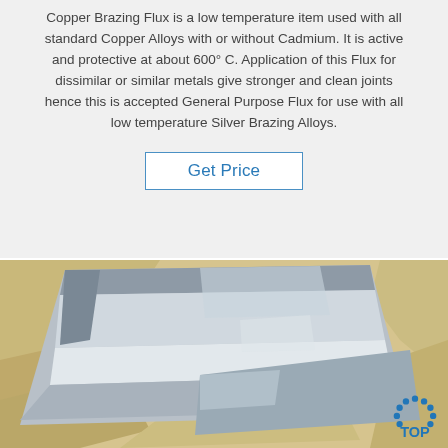Copper Brazing Flux is a low temperature item used with all standard Copper Alloys with or without Cadmium. It is active and protective at about 600° C. Application of this Flux for dissimilar or similar metals give stronger and clean joints hence this is accepted General Purpose Flux for use with all low temperature Silver Brazing Alloys.
Get Price
[Figure (photo): A sheet of metallic brazing alloy (silver-colored, shiny) placed on top of beige/cream colored packaging material or foam. A 'TOP' logo with dotted circle in blue appears in the lower right corner.]